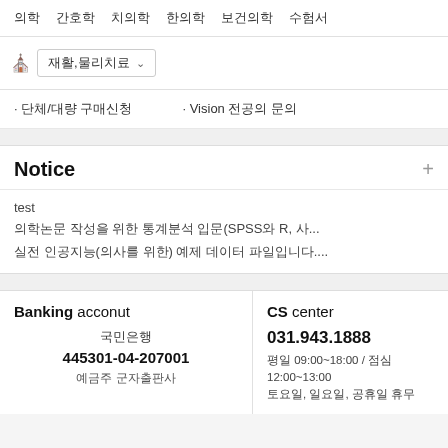의학 간호학 치의학 한의학 보건의학 수험서
재활,물리치료
· 단체/대량 구매신청
· Vision 전공의 문의
Notice
test
의학논문 작성을 위한 통계분석 입문(SPSS와 R, 사...
실전 인공지능(의사를 위한) 예제 데이터 파일입니다....
Banking acconut
국민은행
445301-04-207001
예금주 군자출판사
CS center
031.943.1888
평일 09:00~18:00 / 점심 12:00~13:00
토요일, 일요일, 공휴일 휴무